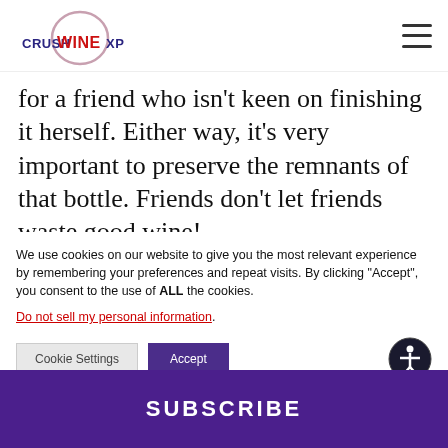[Figure (logo): Crush Wine XP logo with circular graphic and text]
for a friend who isn't keen on finishing it herself. Either way, it's very important to preserve the remnants of that bottle. Friends don't let friends waste good wine!
We use cookies on our website to give you the most relevant experience by remembering your preferences and repeat visits. By clicking "Accept", you consent to the use of ALL the cookies.
Do not sell my personal information.
Cookie Settings | Accept
SUBSCRIBE